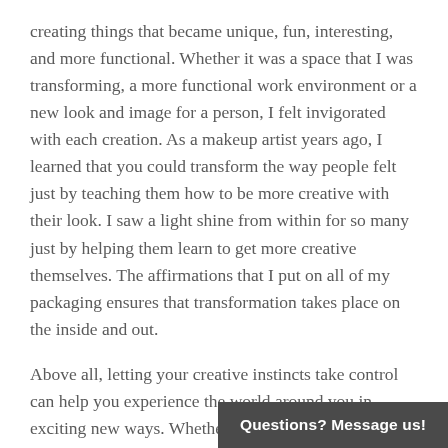creating things that became unique, fun, interesting, and more functional.  Whether it was a space that I was transforming, a more functional work environment or a new look and image for a person, I felt invigorated with each creation.  As a makeup artist years ago, I learned that you could transform the way people felt just by teaching them how to be more creative with their look.  I saw a light shine from within for so many just by helping them learn to get more creative themselves.  The affirmations that I put on all of my packaging ensures that transformation takes place on the inside and out.
Above all, letting your creative instincts take control can help you experience the world around you in exciting new ways. Whether you’re adventuring “outside the box” or transforming the box from the inside out, here are some of my favorite affirmations for unleashing your creativity
Questions? Message us!